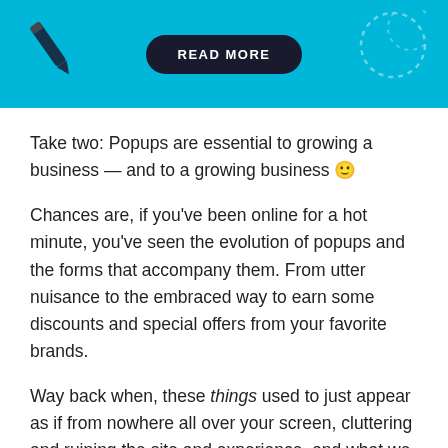[Figure (other): Blue banner with a dark pill-shaped READ MORE button, decorative pen/pencil icon on the left, and dotted circle design on the right]
Take two: Popups are essential to growing a business — and to a growing business 🙂
Chances are, if you've been online for a hot minute, you've seen the evolution of popups and the forms that accompany them. From utter nuisance to the embraced way to earn some discounts and special offers from your favorite brands.
Way back when, these things used to just appear as if from nowhere all over your screen, cluttering and ruining the site and experience, and what we knew then to be a popup became